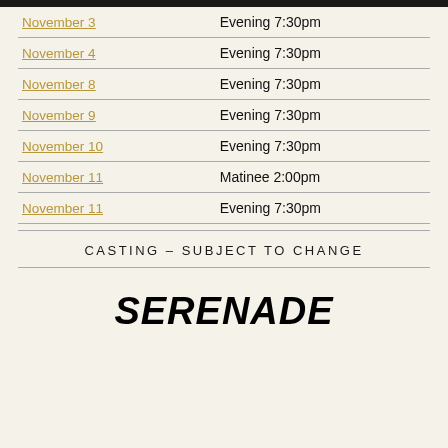| Date | Time |
| --- | --- |
| November 3 | Evening 7:30pm |
| November 4 | Evening 7:30pm |
| November 8 | Evening 7:30pm |
| November 9 | Evening 7:30pm |
| November 10 | Evening 7:30pm |
| November 11 | Matinee 2:00pm |
| November 11 | Evening 7:30pm |
CASTING – SUBJECT TO CHANGE
SERENADE